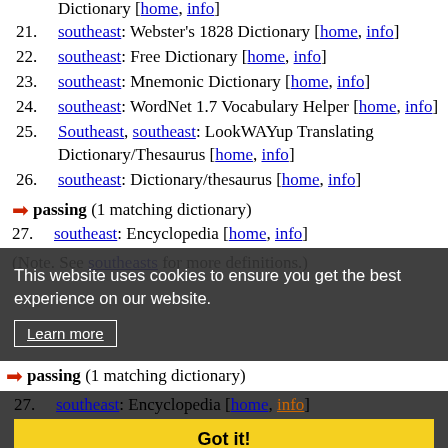Dictionary [home, info]
21. southeast: Webster's 1828 Dictionary [home, info]
22. southeast: Free Dictionary [home, info]
23. southeast: Mnemonic Dictionary [home, info]
24. southeast: WordNet 1.7 Vocabulary Helper [home, info]
25. Southeast, southeast: LookWAYup Translating Dictionary/Thesaurus [home, info]
26. southeast: Dictionary/thesaurus [home, info]
This website uses cookies to ensure you get the best experience on our website.
Learn more
passing (1 matching dictionary)
27. southeast: Encyclopedia [home, info]
Got it!
(Note. See southeasts for more definitions.)